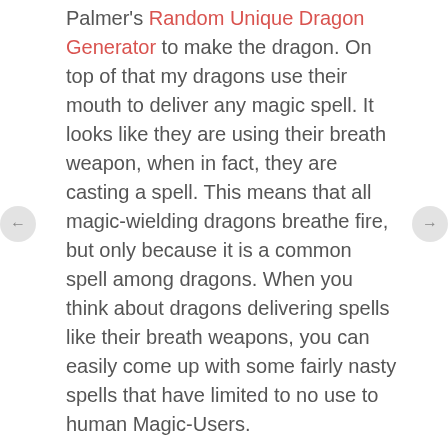Palmer's Random Unique Dragon Generator to make the dragon. On top of that my dragons use their mouth to deliver any magic spell. It looks like they are using their breath weapon, when in fact, they are casting a spell. This means that all magic-wielding dragons breathe fire, but only because it is a common spell among dragons. When you think about dragons delivering spells like their breath weapons, you can easily come up with some fairly nasty spells that have limited to no use to human Magic-Users.
I also take out an old monster entry from 1984 about Striped Dragons that I wrote. Sometimes the striped dragon looks like a striped dragon, other times it looked more or less like one of its parents. Regardless of its ancestry, though, a striped dragon